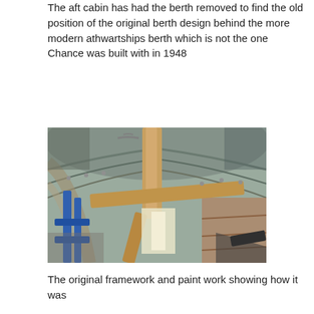The aft cabin has had the berth removed to find the old position of the original berth design behind the more modern athwartships berth which is not the one Chance was built with in 1948
[Figure (photo): Interior photograph of a wooden boat cabin under restoration, showing exposed wooden framework, beams, ribs, and hull planking. Blue metal props/supports are visible on the left side, with light entering through gaps in the structure.]
The original framework and paint work showing how it was